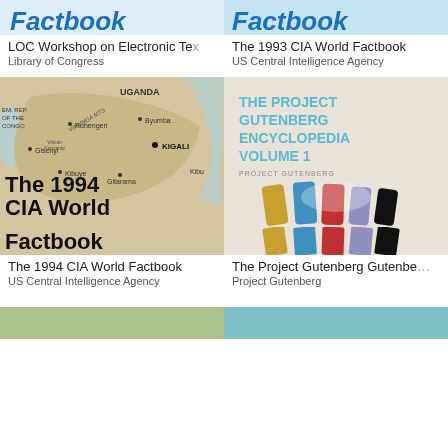[Figure (photo): Partial book cover top - LOC Workshop on Electronic Text with blue title text]
[Figure (photo): Partial book cover top - 1993 CIA World Factbook with blue bold italic title]
LOC Workshop on Electronic Te…
Library of Congress
The 1993 CIA World Factbook
US Central Intelligence Agency
[Figure (map): Map showing Rwanda and surrounding regions including Uganda, DEM. REP. OF THE CONGO, with cities Kigali, Ruhengeri, Byumba, Gisenyi, Kibuye, Gitarama. Overlaid with large text: The 1994 CIA World Factbook]
[Figure (illustration): The Project Gutenberg Encyclopedia Volume 1 book cover with colorful paint brush strokes (blue, red, olive, purple, black) on light background]
The 1994 CIA World Factbook
US Central Intelligence Agency
The Project Gutenberg Gutenbe…
Project Gutenberg
[Figure (photo): Partial book cover bottom - green toned map]
[Figure (photo): Partial book cover bottom - cyan/teal toned cover]